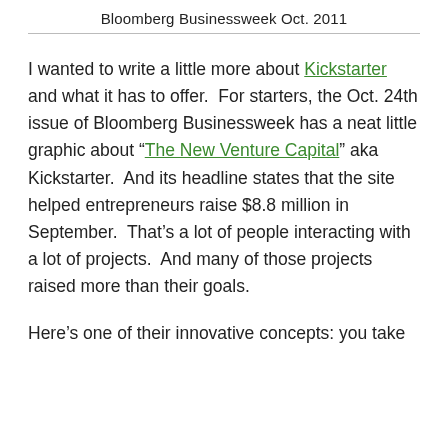Bloomberg Businessweek Oct. 2011
I wanted to write a little more about Kickstarter and what it has to offer.  For starters, the Oct. 24th issue of Bloomberg Businessweek has a neat little graphic about “The New Venture Capital” aka Kickstarter.  And its headline states that the site helped entrepreneurs raise $8.8 million in September.  That’s a lot of people interacting with a lot of projects.  And many of those projects raised more than their goals.
Here’s one of their innovative concepts: you take